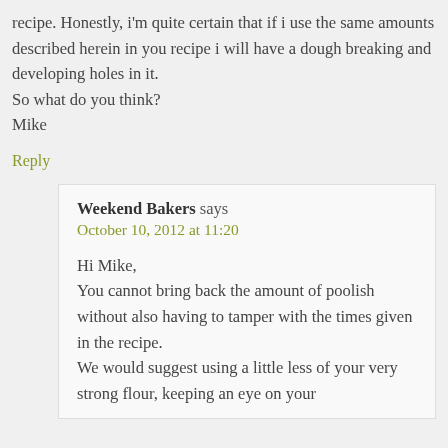recipe. Honestly, i'm quite certain that if i use the same amounts described herein in you recipe i will have a dough breaking and developing holes in it.
So what do you think?
Mike
Reply
Weekend Bakers says
October 10, 2012 at 11:20
Hi Mike,
You cannot bring back the amount of poolish without also having to tamper with the times given in the recipe.
We would suggest using a little less of your very strong flour, keeping an eye on your